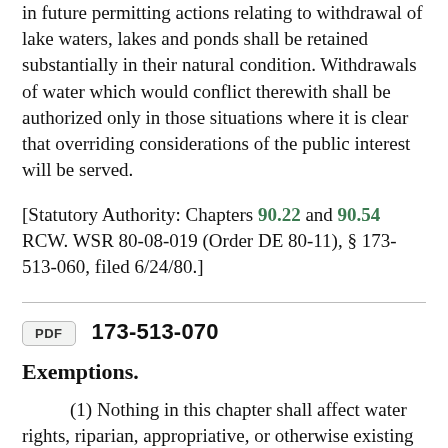in future permitting actions relating to withdrawal of lake waters, lakes and ponds shall be retained substantially in their natural condition. Withdrawals of water which would conflict therewith shall be authorized only in those situations where it is clear that overriding considerations of the public interest will be served.
[Statutory Authority: Chapters 90.22 and 90.54 RCW. WSR 80-08-019 (Order DE 80-11), § 173-513-060, filed 6/24/80.]
173-513-070
Exemptions.
(1) Nothing in this chapter shall affect water rights, riparian, appropriative, or otherwise existing on the effective date of this chapter, nor shall it affect existing rights relating to the operation of any